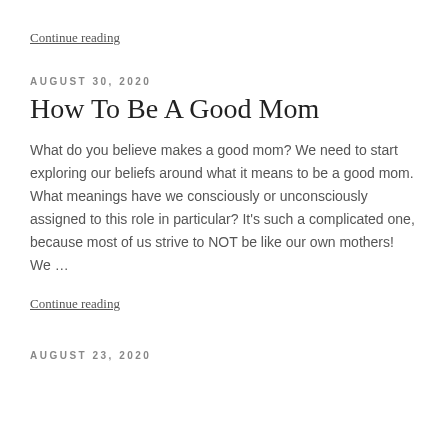Continue reading
AUGUST 30, 2020
How To Be A Good Mom
What do you believe makes a good mom? We need to start exploring our beliefs around what it means to be a good mom. What meanings have we consciously or unconsciously assigned to this role in particular? It’s such a complicated one, because most of us strive to NOT be like our own mothers! We …
Continue reading
AUGUST 23, 2020